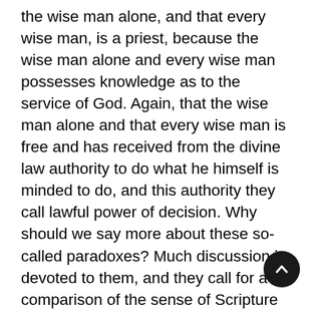the wise man alone, and that every wise man, is a priest, because the wise man alone and every wise man possesses knowledge as to the service of God. Again, that the wise man alone and that every wise man is free and has received from the divine law authority to do what he himself is minded to do, and this authority they call lawful power of decision. Why should we say more about these so-called paradoxes? Much discussion is devoted to them, and they call for a comparison of the sense of Scripture with the doctrine thus conveyed. so that we may be in a position to determine where religious doctrine agrees with them and where it differs from them. This has been suggested to us by our study of the words, That which was made was life in Him; for it appears possible to follow the words of Scripture beyond the places to readers of this, which